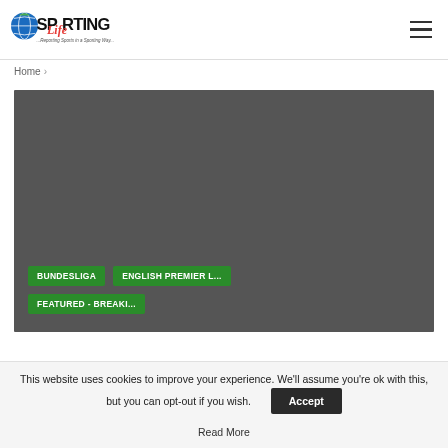[Figure (logo): Sporting Life logo with globe graphic and tagline 'Reporting Sports in a Sporting Way']
Home >
[Figure (photo): Large dark gray image placeholder area]
BUNDESLIGA
ENGLISH PREMIER L...
FEATURED - BREAKI...
This website uses cookies to improve your experience. We'll assume you're ok with this, but you can opt-out if you wish.
Accept
Read More